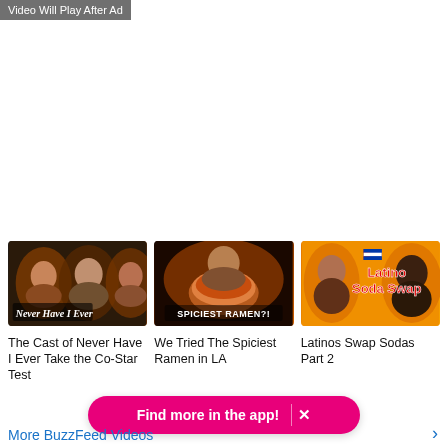Video Will Play After Ad
[Figure (screenshot): Large white/blank video player area]
[Figure (screenshot): Thumbnail: The Cast of Never Have I Ever Take the Co-Star Test - group of young people with 'Never Have I Ever' text overlay]
[Figure (screenshot): Thumbnail: We Tried The Spiciest Ramen in LA - people eating ramen with 'SPICIEST RAMEN?!' text overlay]
[Figure (screenshot): Thumbnail: Latinos Swap Sodas Part 2 - two women on orange background with 'Latino Soda Swap' text overlay]
The Cast of Never Have I Ever Take the Co-Star Test
We Tried The Spiciest Ramen in LA
Latinos Swap Sodas Part 2
Find more in the app!
More BuzzFeed Videos